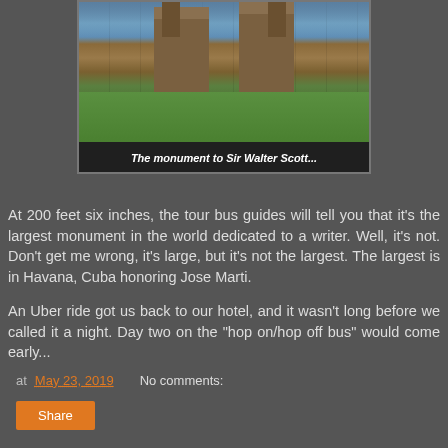[Figure (photo): A photograph of the Scott Monument in Edinburgh, showing Gothic stone towers with a green grass area in front, people sitting on the lawn, blue sky in background.]
The monument to Sir Walter Scott...
At 200 feet six inches, the tour bus guides will tell you that it's the largest monument in the world dedicated to a writer. Well, it's not. Don't get me wrong, it's large, but it's not the largest. The largest is in Havana, Cuba honoring Jose Marti.
An Uber ride got us back to our hotel, and it wasn't long before we called it a night. Day two on the "hop on/hop off bus" would come early...
at May 23, 2019    No comments: